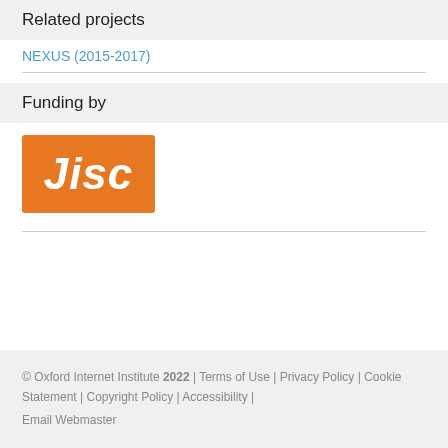Related projects
NEXUS (2015-2017)
Funding by
[Figure (logo): Jisc logo — white italic bold text 'Jisc' on an orange rectangle background]
© Oxford Internet Institute 2022 | Terms of Use | Privacy Policy | Cookie Statement | Copyright Policy | Accessibility | Email Webmaster